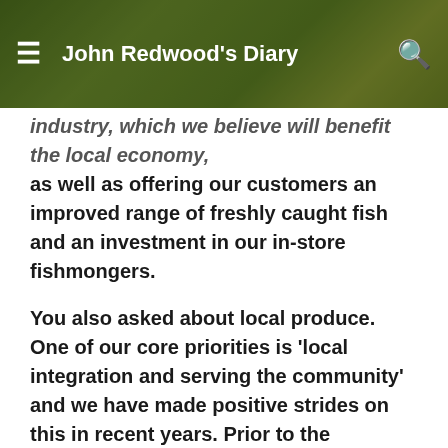John Redwood's Diary
industry, which we believe will benefit the local economy, as well as offering our customers an improved range of freshly caught fish and an investment in our in-store fishmongers.
You also asked about local produce. One of our core priorities is 'local integration and serving the community' and we have made positive strides on this in recent years. Prior to the pandemic, our buyers were touring the nation and hosting 'local foodmaker' events which offered local producers the opportunity to showcase their products. Through our 'local foodmaker' programme we have now surpassed a key milestone of 1,000 new, local products (from 220 local suppliers) which we have sourced from 37 counties across Britain in the last few years. This